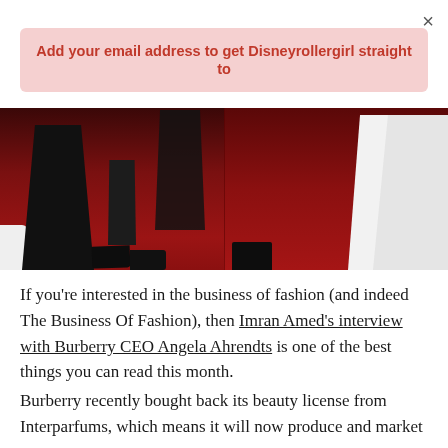×
Add your email address to get Disneyrollergirl straight to
[Figure (photo): Red carpet photo showing figures in black and white formal wear on a red carpet. Left panel shows a long black dress and black shoes on red carpet. Right panel shows a white dress/outfit on the right side.]
If you're interested in the business of fashion (and indeed The Business Of Fashion), then Imran Amed's interview with Burberry CEO Angela Ahrendts is one of the best things you can read this month.
Burberry recently bought back its beauty license from Interparfums, which means it will now produce and market